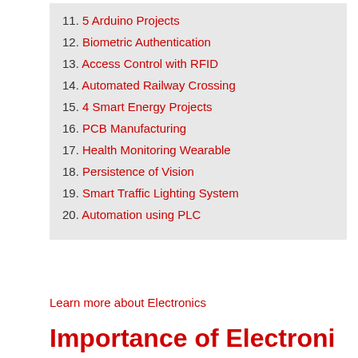11. 5 Arduino Projects
12. Biometric Authentication
13. Access Control with RFID
14. Automated Railway Crossing
15. 4 Smart Energy Projects
16. PCB Manufacturing
17. Health Monitoring Wearable
18. Persistence of Vision
19. Smart Traffic Lighting System
20. Automation using PLC
Learn more about Electronics
Importance of Electronics